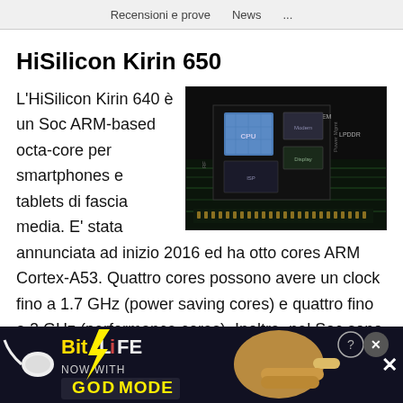Recensioni e prove   News   ...
HiSilicon Kirin 650
[Figure (photo): Close-up photograph of the HiSilicon Kirin chip/SoC circuit board with labeled components including CPU, Display, LPDDR visible on dark background]
L'HiSilicon Kirin 640 è un Soc ARM-based octa-core per smartphones e tablets di fascia media. E' stata annunciata ad inizio 2016 ed ha otto cores ARM Cortex-A53. Quattro cores possono avere un clock fino a 1.7 GHz (power saving cores) e quattro fino a 2 GHz (performance cores). Inoltre, nel Soc sono integrate una GPU ARM Mali-T830 MP2 (da 600 MHz con 40.8 GFLOPS), un controller di memoria 64-Bit LPDDR3 ed una radio dual-sim LTE Cat. 6 (max. 300 MBit/s e GSM, WCDMA, UMTS, HSPA+).
[Figure (screenshot): Advertisement banner for BitLife game - 'NOW WITH GOD MODE' with yellow lightning bolt text and hand pointing emoji, black background with info and close buttons]